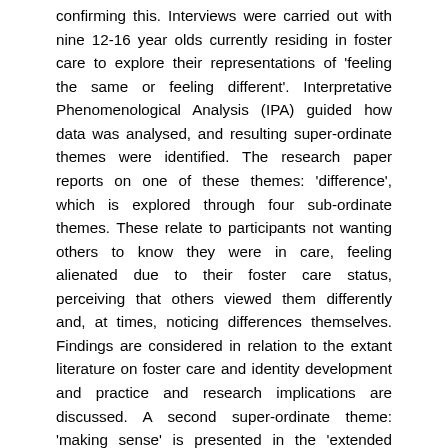confirming this. Interviews were carried out with nine 12-16 year olds currently residing in foster care to explore their representations of 'feeling the same or feeling different'. Interpretative Phenomenological Analysis (IPA) guided how data was analysed, and resulting super-ordinate themes were identified. The research paper reports on one of these themes: 'difference', which is explored through four sub-ordinate themes. These relate to participants not wanting others to know they were in care, feeling alienated due to their foster care status, perceiving that others viewed them differently and, at times, noticing differences themselves. Findings are considered in relation to the extant literature on foster care and identity development and practice and research implications are discussed. A second super-ordinate theme: 'making sense' is presented in the 'extended results' which is explored through five subordinate themes. Representations involved participants making sense of why their birth parents could not care for them, conflicting feelings towards both birth parents and foster parents, and a desire to feel a sense of agency in their lives.